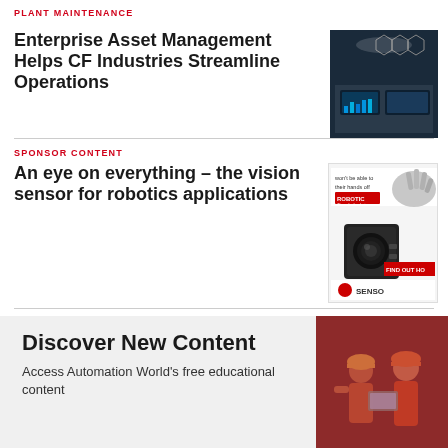PLANT MAINTENANCE
Enterprise Asset Management Helps CF Industries Streamline Operations
[Figure (photo): A high-tech control room with large screens displaying data visualizations and blue digital graphics]
SPONSOR CONTENT
An eye on everything – the vision sensor for robotics applications
[Figure (photo): Advertisement showing a robotic hand and a small black vision sensor camera with text about robotic vision sensor]
Discover New Content
Access Automation World's free educational content
[Figure (photo): Two workers wearing hard hats and safety vests looking at a laptop, with a red/pink tint overlay]